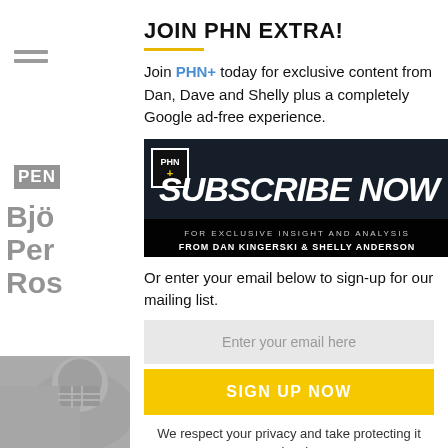JOIN PHN EXTRA!
Join PHN+ today for exclusive content from Dan, Dave and Shelly plus a completely Google ad-free experience.
[Figure (infographic): PHN+ Subscribe Now banner — dark background with PHN+ logo, large italic text 'SUBSCRIBE NOW', and subtitle 'FOR EXCLUSIVE INSIGHT AND ANALYSIS FROM DAN KINGERSKI & SHELLY ANDERSON']
Or enter your email below to sign-up for our mailing list.
Enter your email here
SIGN UP NOW
We respect your privacy and take protecting it seriously